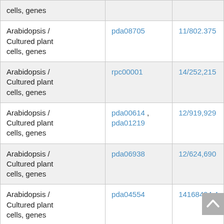| cells, genes |  |  |
| Arabidopsis / Cultured plant cells, genes | pda08705 | 11/802.375 |
| Arabidopsis / Cultured plant cells, genes | rpc00001 | 14/252,215 |
| Arabidopsis / Cultured plant cells, genes | pda00614 , pda01219 | 12/919,929 |
| Arabidopsis / Cultured plant cells, genes | pda06938 | 12/624,690 |
| Arabidopsis / Cultured plant cells, genes | pda04554 | 14168494.4 |
| Arabidopsis / | ... | 10/172,702 |